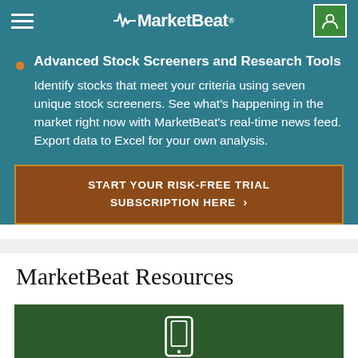MarketBeat
Advanced Stock Screeners and Research Tools
Identify stocks that meet your criteria using seven unique stock screeners. See what's happening in the market right now with MarketBeat's real-time news feed. Export data to Excel for your own analysis.
START YOUR RISK-FREE TRIAL SUBSCRIPTION HERE >
MarketBeat Resources
[Figure (illustration): Green card panel with a white smartphone/tablet icon, partially visible at bottom of page]